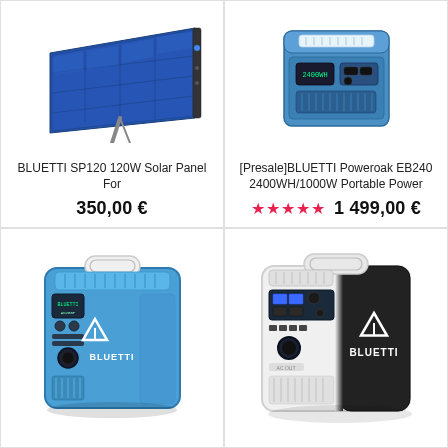[Figure (photo): BLUETTI SP120 120W Solar Panel product photo, shown at an angle with solar cells visible]
BLUETTI SP120 120W Solar Panel For
350,00 €
[Figure (photo): BLUETTI Poweroak EB240 2400WH/1000W Portable Power Station product photo, blue and white unit]
[Presale]BLUETTI Poweroak EB240 2400WH/1000W Portable Power
★★★★★  1 499,00 €
[Figure (photo): BLUETTI portable power station product photo, blue unit with BLUETTI logo]
[Figure (photo): BLUETTI portable power station product photo, white and black unit with BLUETTI logo]